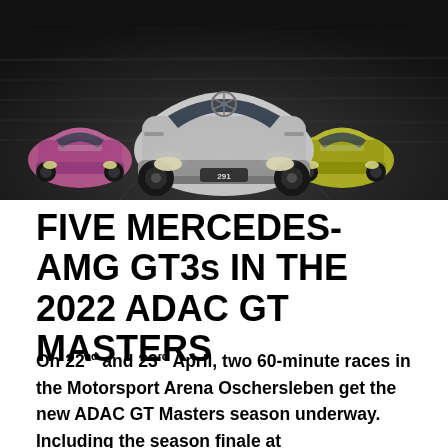[Figure (photo): Three Mercedes-AMG GT3 racing cars racing on a track, viewed from the front. The center car is white/dark, left car is pink, right car is yellow/green. Motion blur in the background suggests high speed.]
FIVE MERCEDES-AMG GT3s IN THE 2022 ADAC GT MASTERS
On 22nd and 23rd April, two 60-minute races in the Motorsport Arena Oschersleben get the new ADAC GT Masters season underway. Including the season finale at Hockenheimring on 23rd October, the prestigious sprint race championship will be in action again at seven circuits in Germany, Austria and The